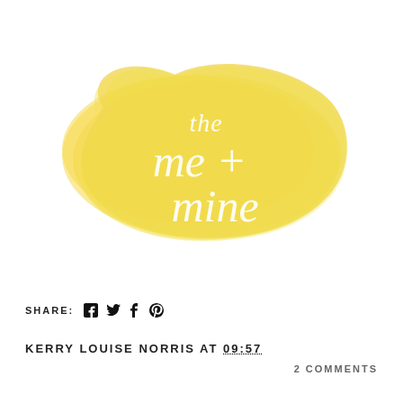[Figure (logo): The me + mine project logo: white script text on a yellow watercolor brushstroke background. Text reads 'the me + mine project' in cursive white lettering.]
SHARE: [facebook] [twitter] [tumblr] [pinterest]
KERRY LOUISE NORRIS AT 09:57
2 COMMENTS